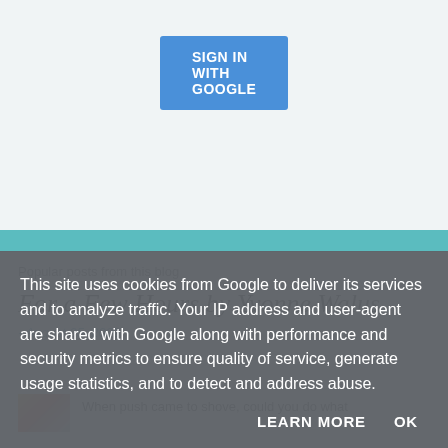[Figure (other): Blue 'SIGN IN WITH GOOGLE' button]
Popular posts from this blog
For a Few Hours by Yvonne Walus
- August 05, 2022
When push came to shove, could you do what
This site uses cookies from Google to deliver its services and to analyze traffic. Your IP address and user-agent are shared with Google along with performance and security metrics to ensure quality of service, generate usage statistics, and to detect and address abuse.
LEARN MORE   OK